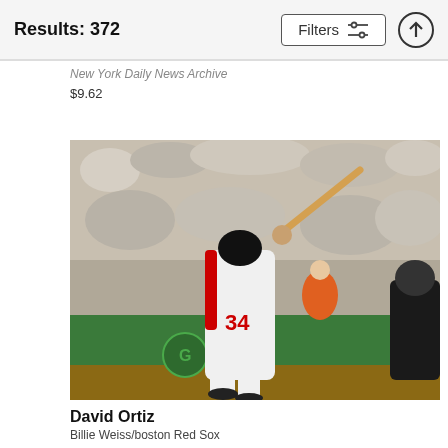Results: 372
New York Daily News Archive
$9.62
[Figure (photo): Baseball player wearing number 34 in a white Boston Red Sox uniform swinging a bat, with a packed stadium crowd in the background and a catcher visible on the right. A green outfield wall is visible behind.]
David Ortiz
Billie Weiss/boston Red Sox